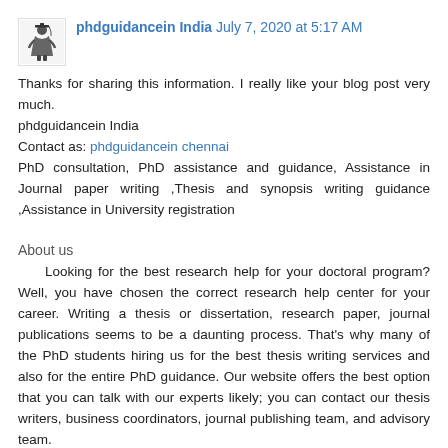[Figure (illustration): Small avatar image of a graduation figure in academic robes]
phdguidancein India  July 7, 2020 at 5:17 AM
Thanks for sharing this information. I really like your blog post very much.
phdguidancein India
Contact as: phdguidancein chennai
PhD consultation, PhD assistance and guidance, Assistance in Journal paper writing ,Thesis and synopsis writing guidance ,Assistance in University registration
About us
Looking for the best research help for your doctoral program? Well, you have chosen the correct research help center for your career. Writing a thesis or dissertation, research paper, journal publications seems to be a daunting process. That's why many of the PhD students hiring us for the best thesis writing services and also for the entire PhD guidance. Our website offers the best option that you can talk with our experts likely; you can contact our thesis writers, business coordinators, journal publishing team, and advisory team.